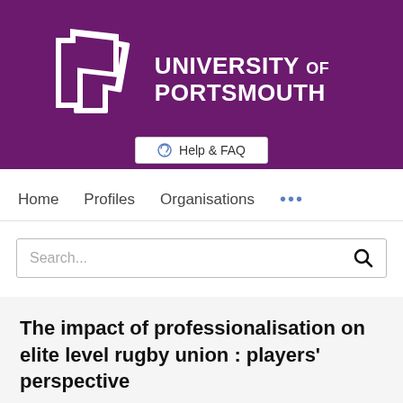[Figure (logo): University of Portsmouth logo with white stylized P icon on purple background and white text reading UNIVERSITY OF PORTSMOUTH]
Help & FAQ
Home   Profiles   Organisations   ...
Search...
The impact of professionalisation on elite level rugby union : players' perspective